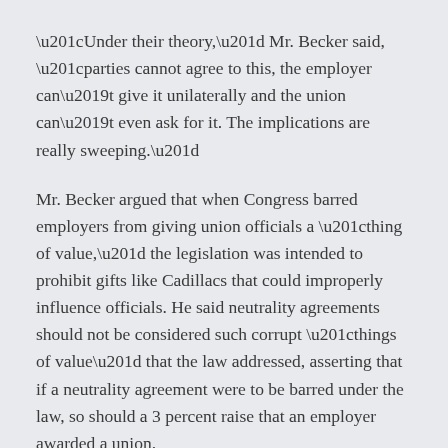“Under their theory,” Mr. Becker said, “parties cannot agree to this, the employer can’t give it unilaterally and the union can’t even ask for it. The implications are really sweeping.”
Mr. Becker argued that when Congress barred employers from giving union officials a “thing of value,” the legislation was intended to prohibit gifts like Cadillacs that could improperly influence officials. He said neutrality agreements should not be considered such corrupt “things of value” that the law addressed, asserting that if a neutrality agreement were to be barred under the law, so should a 3 percent raise that an employer awarded a union.
[...]